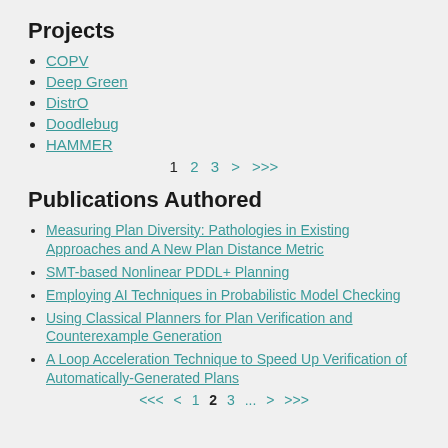Projects
COPV
Deep Green
DistrO
Doodlebug
HAMMER
1  2  3  >  >>>
Publications Authored
Measuring Plan Diversity: Pathologies in Existing Approaches and A New Plan Distance Metric
SMT-based Nonlinear PDDL+ Planning
Employing AI Techniques in Probabilistic Model Checking
Using Classical Planners for Plan Verification and Counterexample Generation
A Loop Acceleration Technique to Speed Up Verification of Automatically-Generated Plans
<<<  <  1  2  3  ...  >  >>>